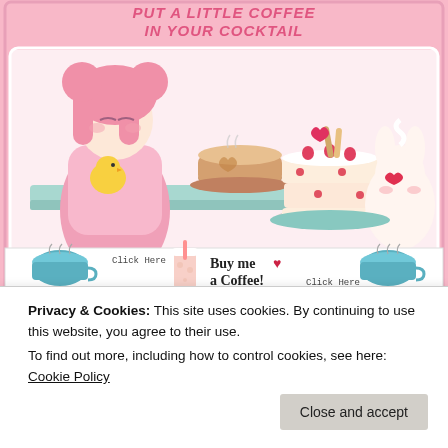[Figure (illustration): Cute anime-style banner showing a pink-haired girl in lolita dress holding a yellow chick, with a latte, a layered cake, and a white bunny creature. Title text reads 'PUT A LITTLE COFFEE IN YOUR COCKTAIL' in pink retro font.]
[Figure (illustration): Buy Me a Coffee promotional bar with two teal coffee cups on left and right, a pink iced coffee cup in center, pixel-art text 'Click Here', and 'Buy me a Coffee!' with a heart icon and 'Click Here' text.]
Advertisements
Professionally
Privacy & Cookies: This site uses cookies. By continuing to use this website, you agree to their use.
To find out more, including how to control cookies, see here: Cookie Policy
Close and accept